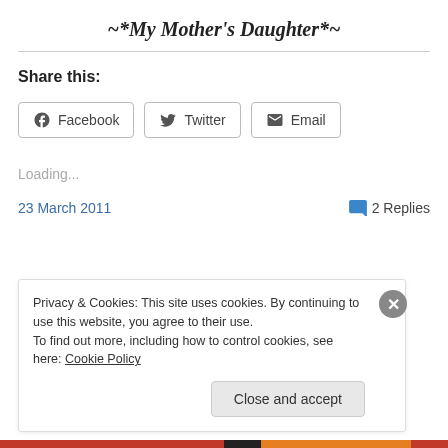~*My Mother's Daughter*~
Share this:
Facebook  Twitter  Email
Loading...
23 March 2011
2 Replies
Privacy & Cookies: This site uses cookies. By continuing to use this website, you agree to their use.
To find out more, including how to control cookies, see here: Cookie Policy
Close and accept